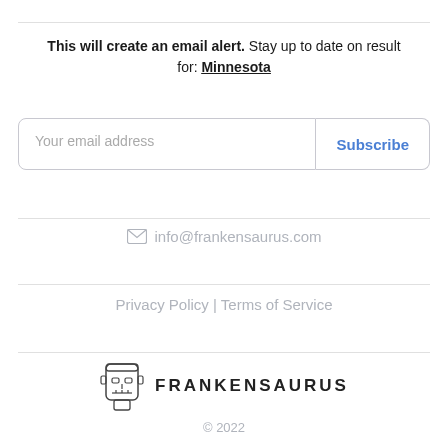This will create an email alert. Stay up to date on result for: Minnesota
[Figure (screenshot): Email input field with placeholder 'Your email address' and a Subscribe button]
info@frankensaurus.com
Privacy Policy | Terms of Service
[Figure (logo): Frankensaurus logo with a stylized frankenstein face icon and the text FRANKENSAURUS]
© 2022